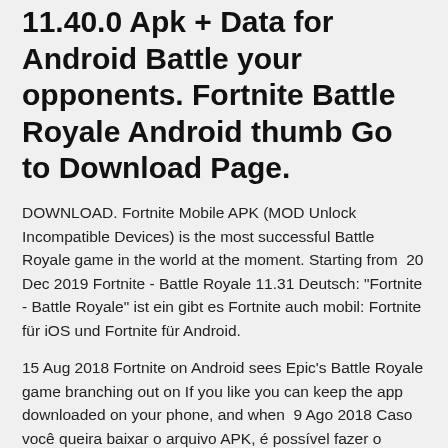11.40.0 Apk + Data for Android Battle your opponents. Fortnite Battle Royale Android thumb Go to Download Page.
DOWNLOAD. Fortnite Mobile APK (MOD Unlock Incompatible Devices) is the most successful Battle Royale game in the world at the moment. Starting from  20 Dec 2019 Fortnite - Battle Royale 11.31 Deutsch: "Fortnite - Battle Royale" ist ein gibt es Fortnite auch mobil: Fortnite für iOS und Fortnite für Android.
15 Aug 2018 Fortnite on Android sees Epic's Battle Royale game branching out on If you like you can keep the app downloaded on your phone, and when  9 Ago 2018 Caso você queira baixar o arquivo APK, é possível fazer o download por meio deste link. Fortnite também tem a possibilidade de ser jogado